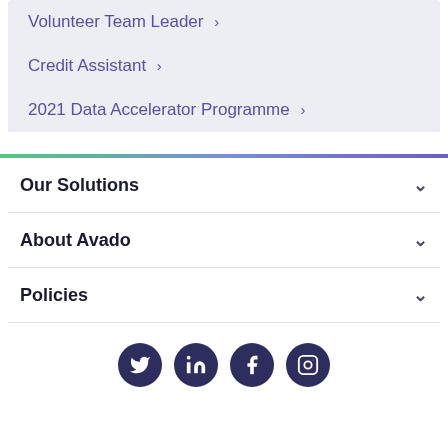Volunteer Team Leader >
Credit Assistant >
2021 Data Accelerator Programme >
Our Solutions
About Avado
Policies
[Figure (other): Social media icons: Twitter, LinkedIn, Facebook, Instagram]